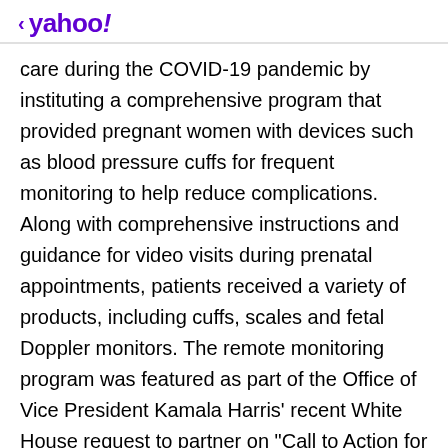< yahoo!
care during the COVID-19 pandemic by instituting a comprehensive program that provided pregnant women with devices such as blood pressure cuffs for frequent monitoring to help reduce complications. Along with comprehensive instructions and guidance for video visits during prenatal appointments, patients received a variety of products, including cuffs, scales and fetal Doppler monitors. The remote monitoring program was featured as part of the Office of Vice President Kamala Harris' recent White House request to partner on "Call to Action for Maternal Health."
Ad   Scroll to continue with content   ...
The Listed Infrastructure Advantage